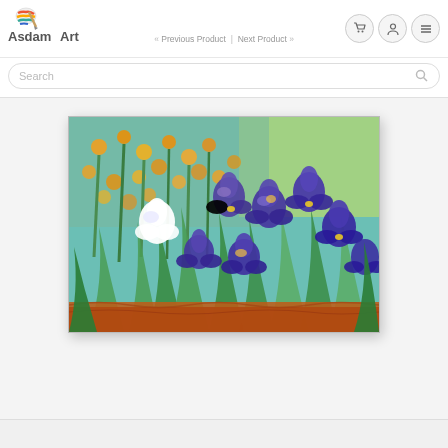[Figure (logo): AsdamArt logo with colorful brush icon and stylized text]
« Previous Product  |  Next Product »
[Figure (screenshot): Search bar with placeholder text 'Search' and magnifying glass icon]
[Figure (photo): Van Gogh style oil painting of purple irises with a white flower, orange marigolds in background, orange-brown soil at bottom, green leaves throughout, on a teal/green background]